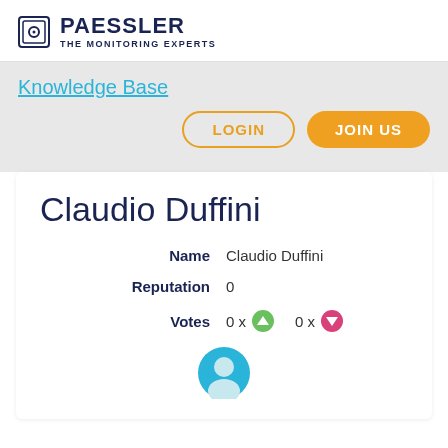[Figure (logo): Paessler logo with icon, bold PAESSLER text and tagline THE MONITORING EXPERTS]
Knowledge Base
LOGIN
JOIN US
Claudio Duffini
| Name | Claudio Duffini |
| Reputation | 0 |
| Votes | 0 x ↑  0 x ↓ |